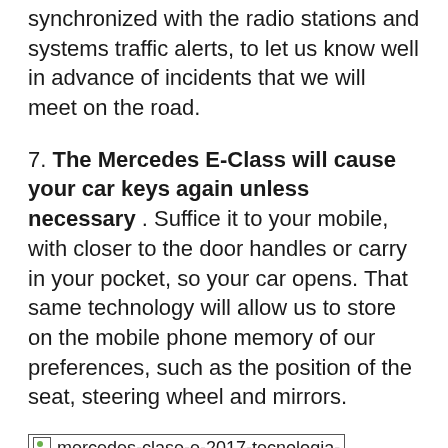synchronized with the radio stations and systems traffic alerts, to let us know well in advance of incidents that we will meet on the road.
7. The Mercedes E-Class will cause your car keys again unless necessary . Suffice it to your mobile, with closer to the door handles or carry in your pocket, so your car opens. That same technology will allow us to store on the mobile phone memory of our preferences, such as the position of the seat, steering wheel and mirrors.
[Figure (photo): Broken image placeholder for mercedes-clase-e-2017-tecnologia-anticipo-03-1440px]
To protect passengers, seats will move